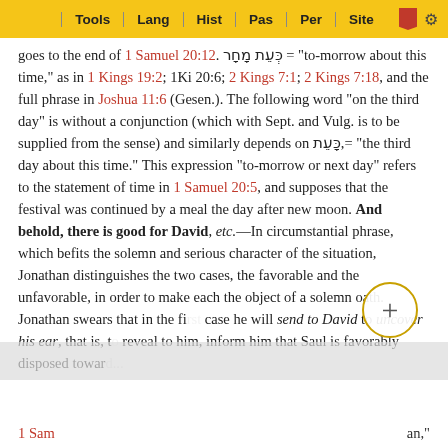Tools | Lang | Hist | Pas | Per | Site
goes to the end of 1 Samuel 20:12. כְּעֵת מָחָר = "to-morrow about this time," as in 1 Kings 19:2; 1Ki 20:6; 2 Kings 7:1; 2 Kings 7:18, and the full phrase in Joshua 11:6 (Gesen.). The following word "on the third day" is without a conjunction (which with Sept. and Vulg. is to be supplied from the sense) and similarly depends on כָּעֵת,= "the third day about this time." This expression "to-morrow or next day" refers to the statement of time in 1 Samuel 20:5, and supposes that the festival was continued by a meal the day after new moon. And behold, there is good for David, etc.—In circumstantial phrase, which befits the solemn and serious character of the situation, Jonathan distinguishes the two cases, the favorable and the unfavorable, in order to make each the object of a solemn oath. Jonathan swears that in the first case he will send to David to uncover his ear, that is, to reveal to him, inform him that Saul is favorably disposed toward...
1 Sam... an,"